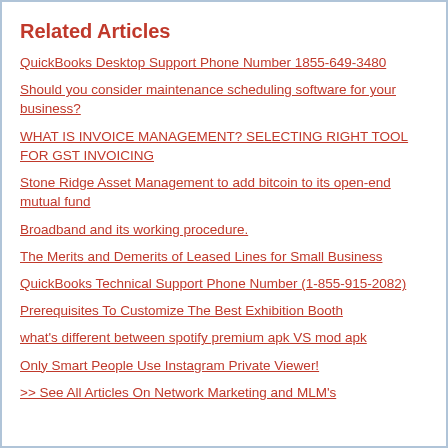Related Articles
QuickBooks Desktop Support Phone Number 1855-649-3480
Should you consider maintenance scheduling software for your business?
WHAT IS INVOICE MANAGEMENT? SELECTING RIGHT TOOL FOR GST INVOICING
Stone Ridge Asset Management to add bitcoin to its open-end mutual fund
Broadband and its working procedure.
The Merits and Demerits of Leased Lines for Small Business
QuickBooks Technical Support Phone Number (1-855-915-2082)
Prerequisites To Customize The Best Exhibition Booth
what's different between spotify premium apk VS mod apk
Only Smart People Use Instagram Private Viewer!
>> See All Articles On Network Marketing and MLM's